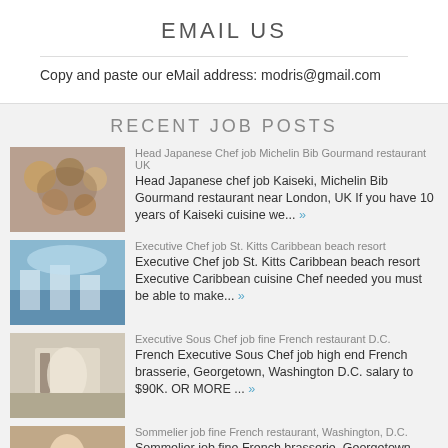EMAIL US
Copy and paste our eMail address: modris@gmail.com
RECENT JOB POSTS
Head Japanese Chef job Michelin Bib Gourmand restaurant UK Head Japanese chef job Kaiseki, Michelin Bib Gourmand restaurant near London, UK If you have 10 years of Kaiseki cuisine we... »
Executive Chef job St. Kitts Caribbean beach resort Executive Chef job St. Kitts Caribbean beach resort Executive Caribbean cuisine Chef needed you must be able to make... »
Executive Sous Chef job fine French restaurant D.C. French Executive Sous Chef job high end French brasserie, Georgetown, Washington D.C. salary to $90K. OR MORE ... »
Sommelier job fine French restaurant, Washington, D.C. Sommelier job fine French brasserie, Georgetown, Washington D.C. salary to $120K. benefits include Dental, Life,... »
Maitre d' Floor Manager job fine French restaurant D.C. Maître d' or Maîtressse Floor Manager job fine French...